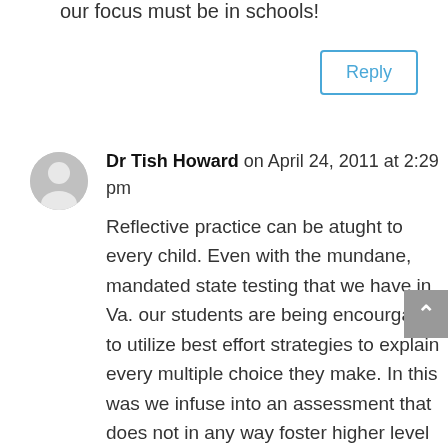our focus must be in schools!
Reply
Dr Tish Howard on April 24, 2011 at 2:29 pm
Reflective practice can be atught to every child. Even with the mundane, mandated state testing that we have in Va. our students are being encourgaed to utilize best effort strategies to explain every multiple choice they make. In this was we infuse into an assessment that does not in any way foster higher level thinking skills a slice of what we